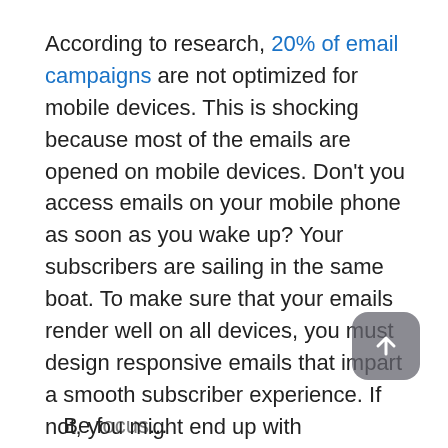According to research, 20% of email campaigns are not optimized for mobile devices. This is shocking because most of the emails are opened on mobile devices. Don't you access emails on your mobile phone as soon as you wake up? Your subscribers are sailing in the same boat. To make sure that your emails render well on all devices, you must design responsive emails that impart a smooth subscriber experience. If not, you might end up with unsubscribes or worse still, spam complaints.
36% B2B companies that designed their emails for mobile devices observed an improvement in the campaign performance. Therefore, you must keep your mobile users in mind.
Be referred to as the content starting at the bottom...